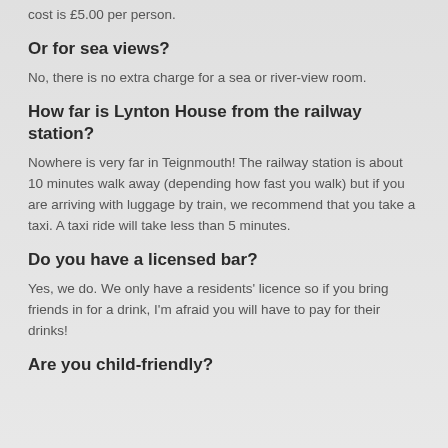cost is £5.00 per person.
Or for sea views?
No, there is no extra charge for a sea or river-view room.
How far is Lynton House from the railway station?
Nowhere is very far in Teignmouth! The railway station is about 10 minutes walk away (depending how fast you walk) but if you are arriving with luggage by train, we recommend that you take a taxi. A taxi ride will take less than 5 minutes.
Do you have a licensed bar?
Yes, we do. We only have a residents' licence so if you bring friends in for a drink, I'm afraid you will have to pay for their drinks!
Are you child-friendly?